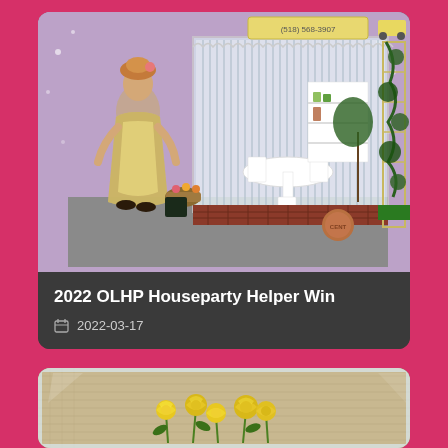[Figure (photo): Photo of a miniature dollhouse scene with a Victorian-style doll figure, a small shop diorama with white furniture and curtains, a brick base, a copper penny for scale, and a garden trellis with vines]
2022 OLHP Houseparty Helper Win
2022-03-17
[Figure (photo): Photo of miniature yellow roses in a clear display case with a burlap/linen background]